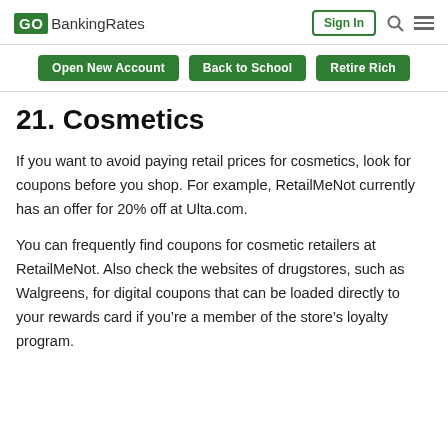GOBankingRates | Sign In
Open New Account | Back to School | Retire Rich
21. Cosmetics
If you want to avoid paying retail prices for cosmetics, look for coupons before you shop. For example, RetailMeNot currently has an offer for 20% off at Ulta.com.
You can frequently find coupons for cosmetic retailers at RetailMeNot. Also check the websites of drugstores, such as Walgreens, for digital coupons that can be loaded directly to your rewards card if you’re a member of the store’s loyalty program.